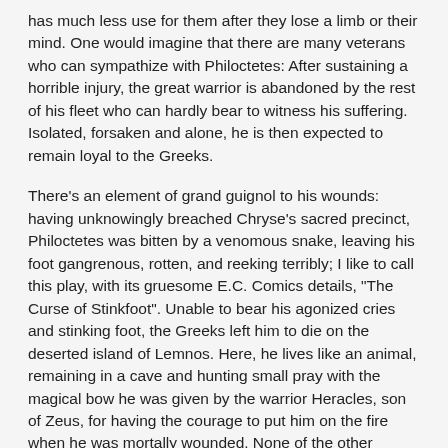has much less use for them after they lose a limb or their mind. One would imagine that there are many veterans who can sympathize with Philoctetes: After sustaining a horrible injury, the great warrior is abandoned by the rest of his fleet who can hardly bear to witness his suffering. Isolated, forsaken and alone, he is then expected to remain loyal to the Greeks.
There's an element of grand guignol to his wounds: having unknowingly breached Chryse's sacred precinct, Philoctetes was bitten by a venomous snake, leaving his foot gangrenous, rotten, and reeking terribly; I like to call this play, with its gruesome E.C. Comics details, "The Curse of Stinkfoot". Unable to bear his agonized cries and stinking foot, the Greeks left him to die on the deserted island of Lemnos. Here, he lives like an animal, remaining in a cave and hunting small pray with the magical bow he was given by the warrior Heracles, son of Zeus, for having the courage to put him on the fire when he was mortally wounded. None of the other Greeks could bear to do so and courage is a major theme of the play. Philoctetes's courage in caring for Heracles will be mirrored by Neoptolemus's courage in caring for him. As in life, though, it's never entirely clear what is the courageous path.